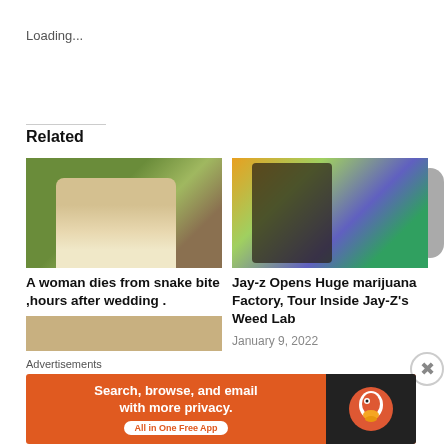Loading...
Related
[Figure (photo): Woman in lace dress at outdoor setting]
A woman dies from snake bite ,hours after wedding .
April 5, 2019
[Figure (photo): Man with sunglasses in front of colorful marijuana-themed background with bowl of cannabis]
Jay-z Opens Huge marijuana Factory, Tour Inside Jay-Z's Weed Lab
January 9, 2022
Advertisements
[Figure (screenshot): DuckDuckGo advertisement banner: Search, browse, and email with more privacy. All in One Free App]